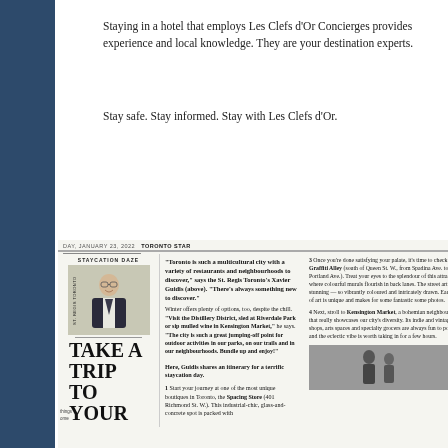Staying in a hotel that employs Les Clefs d'Or Concierges provides experience and local knowledge. They are your destination experts.
Stay safe. Stay informed. Stay with Les Clefs d'Or.
[Figure (screenshot): Newspaper clipping from Toronto Star, January 23, 2022, with the headline 'TAKE A TRIP TO YOUR' and subheading 'STAYCATION DAZE', featuring a photo of a concierge in a suit, along with article text about Toronto staycation tips by Xavier Guidis of the St. Regis Toronto.]